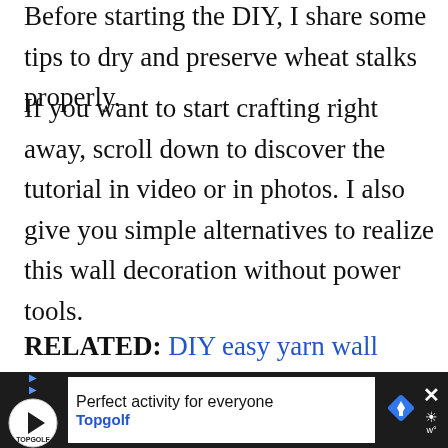Before starting the DIY, I share some tips to dry and preserve wheat stalks properly.
If you want to start crafting right away, scroll down to discover the tutorial in video or in photos. I also give you simple alternatives to realize this wall decoration without power tools.
RELATED: DIY easy yarn wall hanging
RELATED: How to create cut-paper wall art
[Figure (screenshot): Advertisement banner at bottom of page: Topgolf 'Perfect activity for everyone' ad with close button and weather icon on dark background]